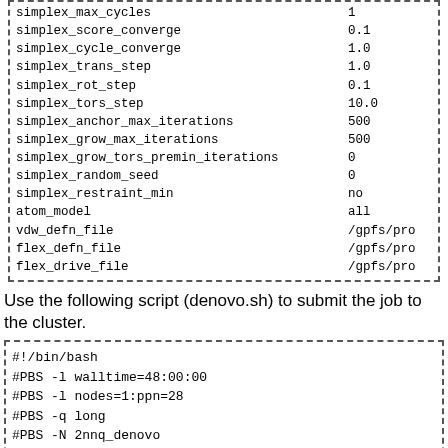simplex_max_cycles	1
simplex_score_converge	0.1
simplex_cycle_converge	1.0
simplex_trans_step	1.0
simplex_rot_step	0.1
simplex_tors_step	10.0
simplex_anchor_max_iterations	500
simplex_grow_max_iterations	500
simplex_grow_tors_premin_iterations	0
simplex_random_seed	0
simplex_restraint_min	no
atom_model	all
vdw_defn_file	/gpfs/pro
flex_defn_file	/gpfs/pro
flex_drive_file	/gpfs/pro
Use the following script (denovo.sh) to submit the job to the cluster.
#!/bin/bash
#PBS -l walltime=48:00:00
#PBS -l nodes=1:ppn=28
#PBS -q long
#PBS -N 2nnq_denovo
#PBS -V
cd $PBS_O_WORKDIR
dock6 -i denovo.in -o 2nnq_denovo.out
Use the following command to submit the job.
qsub denovo.sh